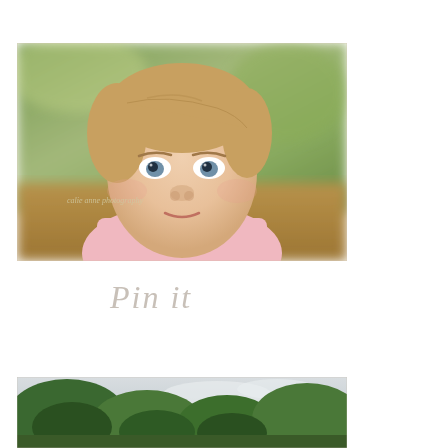[Figure (photo): Close-up portrait of a young toddler boy with short light brown hair and blue-grey eyes, wearing a light pink polo shirt, set against a blurred outdoor background of green foliage and earth tones. A watermark reads 'calie anne photography' in the lower left area of the image.]
Pin it
[Figure (photo): Outdoor landscape photo showing large green trees with lush foliage against a bright overcast sky, partially cropped at the bottom of the page.]